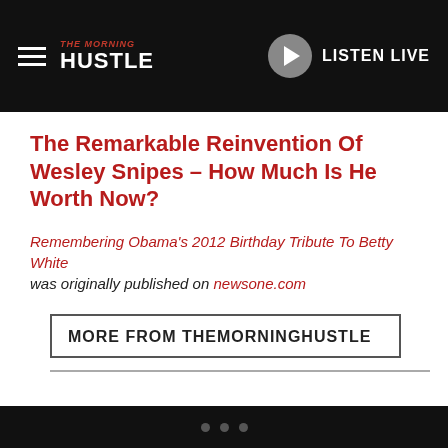THE MORNING HUSTLE — LISTEN LIVE
The Remarkable Reinvention Of Wesley Snipes – How Much Is He Worth Now?
Remembering Obama's 2012 Birthday Tribute To Betty White was originally published on newsone.com
MORE FROM THEMORNINGHUSTLE